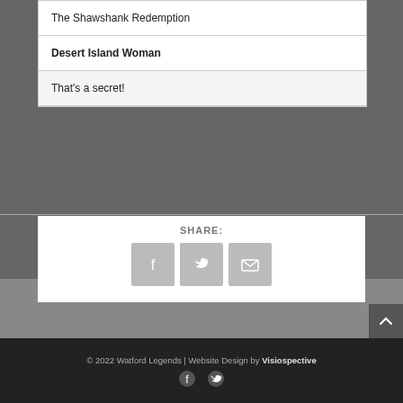The Shawshank Redemption
Desert Island Woman
That's a secret!
SHARE:
[Figure (infographic): Three social share icon buttons: Facebook, Twitter, Email]
[Figure (infographic): Scroll-to-top button with upward chevron]
© 2022 Watford Legends | Website Design by Visiospective
[Figure (infographic): Footer social icons: Facebook and Twitter]